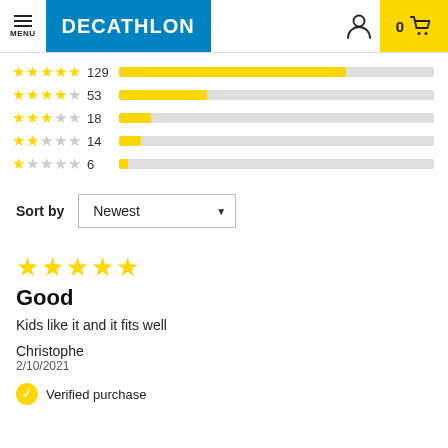DECATHLON — MENU, user icon, 0 cart
[Figure (bar-chart): Rating distribution]
Sort by  Newest
[Figure (other): 5 yellow stars rating]
Good
Kids like it and it fits well
Christophe
2/10/2021
Verified purchase